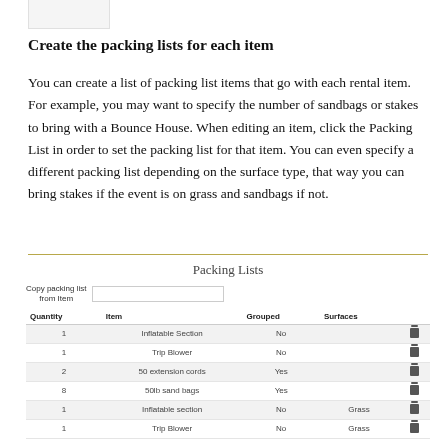Create the packing lists for each item
You can create a list of packing list items that go with each rental item. For example, you may want to specify the number of sandbags or stakes to bring with a Bounce House. When editing an item, click the Packing List in order to set the packing list for that item. You can even specify a different packing list depending on the surface type, that way you can bring stakes if the event is on grass and sandbags if not.
| Quantity | Item | Grouped | Surfaces |  |
| --- | --- | --- | --- | --- |
| 1 | Inflatable Section | No |  | 🗑 |
| 1 | Trip Blower | No |  | 🗑 |
| 2 | 50 extension cords | Yes |  | 🗑 |
| 8 | 50lb sand bags | Yes |  | 🗑 |
| 1 | Inflatable section | No | Grass | 🗑 |
| 1 | Trip Blower | No | Grass | 🗑 |